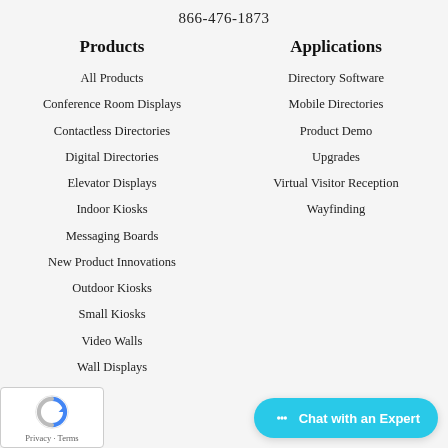866-476-1873
Products
Applications
All Products
Directory Software
Conference Room Displays
Mobile Directories
Contactless Directories
Product Demo
Digital Directories
Upgrades
Elevator Displays
Virtual Visitor Reception
Indoor Kiosks
Wayfinding
Messaging Boards
New Product Innovations
Outdoor Kiosks
Small Kiosks
Video Walls
Wall Displays
[Figure (logo): reCAPTCHA Privacy - Terms badge]
Chat with an Expert